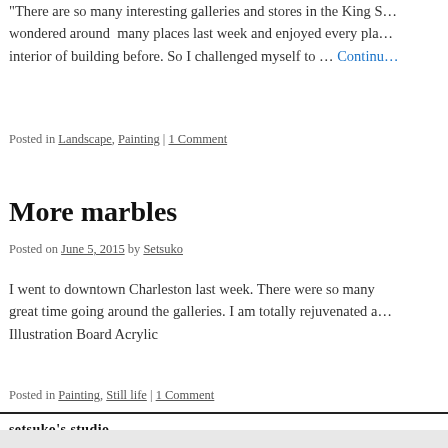There are so many interesting galleries and stores in the King S… wondered around many places last week and enjoyed every pla… interior of building before. So I challenged myself to … Continu…
Posted in Landscape, Painting | 1 Comment
More marbles
Posted on June 5, 2015 by Setsuko
I went to downtown Charleston last week. There were so many great time going around the galleries. I am totally rejuvenated a… Illustration Board Acrylic
Posted in Painting, Still life | 1 Comment
setsuko's studio